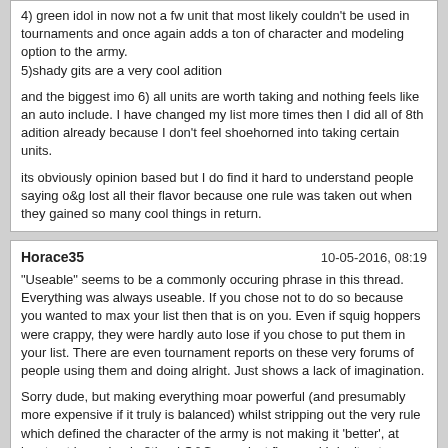4) green idol in now not a fw unit that most likely couldn't be used in tournaments and once again adds a ton of character and modeling option to the army.
5)shady gits are a very cool adition

and the biggest imo 6) all units are worth taking and nothing feels like an auto include. I have changed my list more times then I did all of 8th adition already because I don't feel shoehorned into taking certain units.

its obviously opinion based but I do find it hard to understand people saying o&g lost all their flavor because one rule was taken out when they gained so many cool things in return.
Horace35
10-05-2016, 08:19
"Useable" seems to be a commonly occuring phrase in this thread. Everything was always useable. If you chose not to do so because you wanted to max your list then that is on you. Even if squig hoppers were crappy, they were hardly auto lose if you chose to put them in your list. There are even tournament reports on these very forums of people using them and doing alright. Just shows a lack of imagination.

Sorry dude, but making everything moar powerful (and presumably more expensive if it truly is balanced) whilst stripping out the very rule which defined the character of the army is not making it 'better', at least not in my book. 8th ed O&G were just fine, and I don't get your point about the great idol at all, it had FW rules you could use just like every other FW model.

Perhaps the common goblin rules did need a bit of a boost, it doesn't really affect me because I don't like the common gob models at all, and 9th age is never going to solve that problem unless they hire sculptors.

As I have said elsewhere, I appreciate that 9th has 'fixed' a few niggles about 8th, but it's all the stuff that didn't need fixing that they changed anyway, change for the sake of change, which I don't like, stuff like removing animosity :)